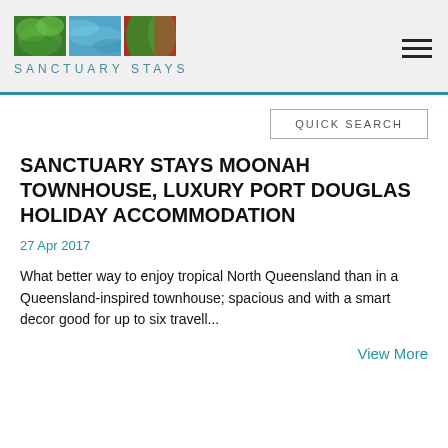SANCTUARY STAYS
[Figure (logo): Sanctuary Stays logo with three nature images (green leaves, blue water, green plant) and text 'SANCTUARY STAYS' in teal letters below]
QUICK SEARCH
SANCTUARY STAYS MOONAH TOWNHOUSE, LUXURY PORT DOUGLAS HOLIDAY ACCOMMODATION
27 Apr 2017
What better way to enjoy tropical North Queensland than in a Queensland-inspired townhouse; spacious and with a smart decor good for up to six travell...
View More